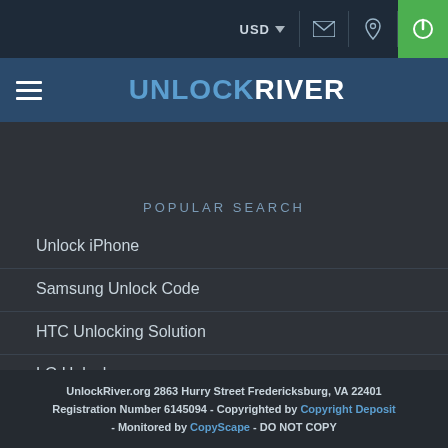USD | [email icon] [location icon] [power icon]
[Figure (logo): UnlockRiver logo with hamburger menu on dark blue navigation bar]
POPULAR SEARCH
Unlock iPhone
Samsung Unlock Code
HTC Unlocking Solution
LG Unlock
UnlockRiver.org 2863 Hurry Street Fredericksburg, VA 22401 Registration Number 6145094 - Copyrighted by Copyright Deposit - Monitored by CopyScape - DO NOT COPY